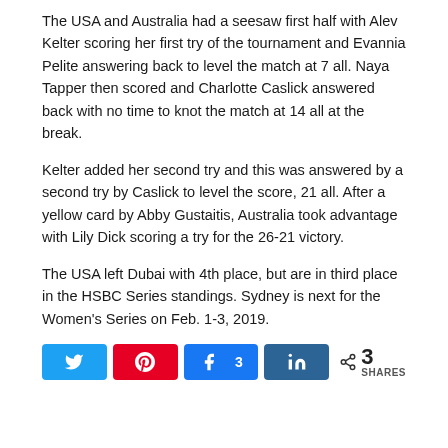The USA and Australia had a seesaw first half with Alev Kelter scoring her first try of the tournament and Evannia Pelite answering back to level the match at 7 all. Naya Tapper then scored and Charlotte Caslick answered back with no time to knot the match at 14 all at the break.
Kelter added her second try and this was answered by a second try by Caslick to level the score, 21 all. After a yellow card by Abby Gustaitis, Australia took advantage with Lily Dick scoring a try for the 26-21 victory.
The USA left Dubai with 4th place, but are in third place in the HSBC Series standings. Sydney is next for the Women's Series on Feb. 1-3, 2019.
[Figure (other): Social sharing bar with Twitter, Pinterest, Facebook, LinkedIn buttons and a share count showing 3 SHARES]